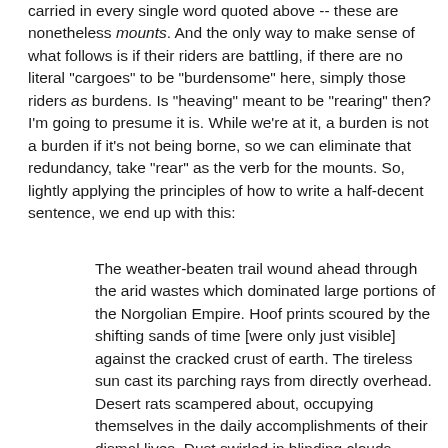carried in every single word quoted above -- these are nonetheless mounts. And the only way to make sense of what follows is if their riders are battling, if there are no literal "cargoes" to be "burdensome" here, simply those riders as burdens. Is "heaving" meant to be "rearing" then? I'm going to presume it is. While we're at it, a burden is not a burden if it's not being borne, so we can eliminate that redundancy, take "rear" as the verb for the mounts. So, lightly applying the principles of how to write a half-decent sentence, we end up with this:
The weather-beaten trail wound ahead through the arid wastes which dominated large portions of the Norgolian Empire. Hoof prints scoured by the shifting sands of time [were only just visible] against the cracked crust of earth. The tireless sun cast its parching rays from directly overhead. Desert rats scampered about, occupying themselves in the daily accomplishments of their dismal lives. Dust swirled in blinding clouds around three mounts while they reared under the burdens of their battling riders.